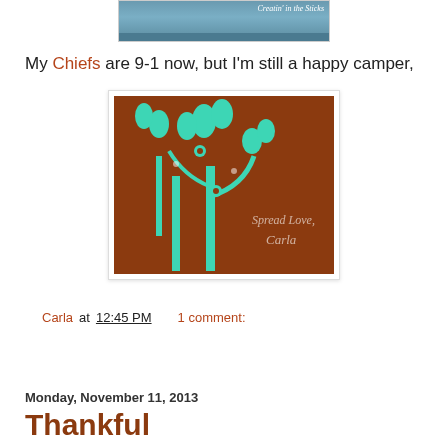[Figure (photo): Top banner image showing blue metal railing or structure with watermark text 'Creatin' in the Sticks' in the upper right corner]
My Chiefs are 9-1 now, but I'm still a happy camper,
[Figure (illustration): Brown background greeting card with turquoise/mint colored decorative tree/plant silhouette design and text reading 'Spread Love, Carla' in white italic script]
Carla at 12:45 PM    1 comment:
Share
Monday, November 11, 2013
Thankful